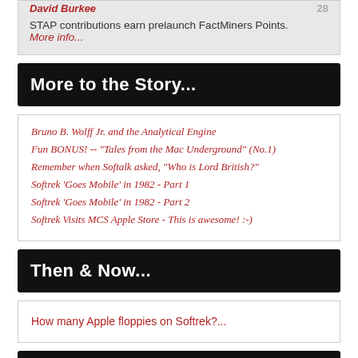David Burkee ... 28
STAP contributions earn prelaunch FactMiners Points.
More info...
More to the Story...
Bruno B. Wolff Jr. and the Analytical Engine
Fun BONUS! -- "Tales from the Mac Underground" (No.1)
Remember when Softalk asked, "Who is Lord British?"
Softrek ‘Goes Mobile’ in 1982 - Part 1
Softrek ‘Goes Mobile’ in 1982 - Part 2
Softrek Visits MCS Apple Store - This is awesome! :-)
Then & Now...
How many Apple floppies on Softrek?...